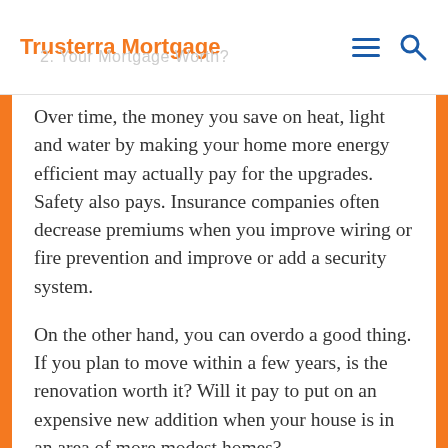Trusterra Mortgage
Over time, the money you save on heat, light and water by making your home more energy efficient may actually pay for the upgrades. Safety also pays. Insurance companies often decrease premiums when you improve wiring or fire prevention and improve or add a security system.
On the other hand, you can overdo a good thing. If you plan to move within a few years, is the renovation worth it? Will it pay to put on an expensive new addition when your house is in an area of more modest homes?
Payback Range of Typical Renovations